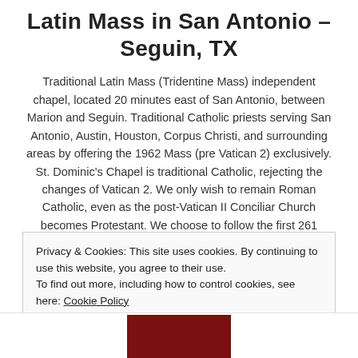Latin Mass in San Antonio – Seguin, TX
Traditional Latin Mass (Tridentine Mass) independent chapel, located 20 minutes east of San Antonio, between Marion and Seguin. Traditional Catholic priests serving San Antonio, Austin, Houston, Corpus Christi, and surrounding areas by offering the 1962 Mass (pre Vatican 2) exclusively. St. Dominic's Chapel is traditional Catholic, rejecting the changes of Vatican 2. We only wish to remain Roman Catholic, even as the post-Vatican II Conciliar Church becomes Protestant. We choose to follow the first 261 popes, rather than the last 5!
Privacy & Cookies: This site uses cookies. By continuing to use this website, you agree to their use.
To find out more, including how to control cookies, see here: Cookie Policy
[Figure (photo): Partial view of a photo at bottom of page, showing a dark red/maroon background, appears to be bottom of a person photo]